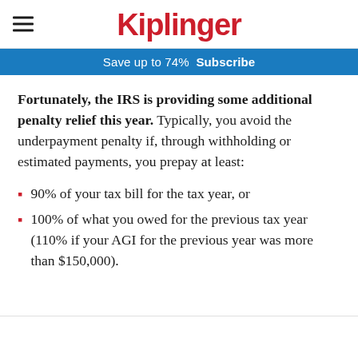Kiplinger
Save up to 74%  Subscribe
Fortunately, the IRS is providing some additional penalty relief this year. Typically, you avoid the underpayment penalty if, through withholding or estimated payments, you prepay at least:
90% of your tax bill for the tax year, or
100% of what you owed for the previous tax year (110% if your AGI for the previous year was more than $150,000).